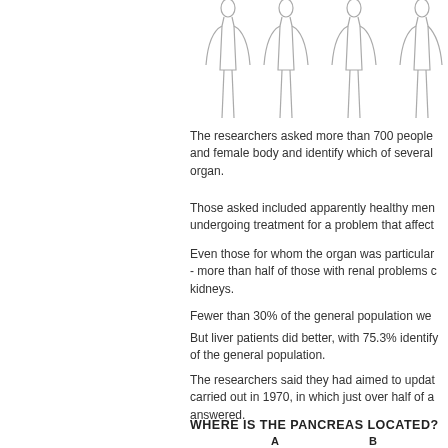[Figure (illustration): Outline drawings of human body figures (male and female silhouettes) shown from the waist up, partially cropped at top of page]
The researchers asked more than 700 people and female body and identify which of several organ.
Those asked included apparently healthy men undergoing treatment for a problem that affect
Even those for whom the organ was particular - more than half of those with renal problems c kidneys.
Fewer than 30% of the general population we
But liver patients did better, with 75.3% identify of the general population.
The researchers said they had aimed to updat carried out in 1970, in which just over half of a answered.
WHERE IS THE PANCREAS LOCATED?
[Figure (illustration): Diagram showing answer options A and B with circles (body silhouette options) for identifying pancreas location]